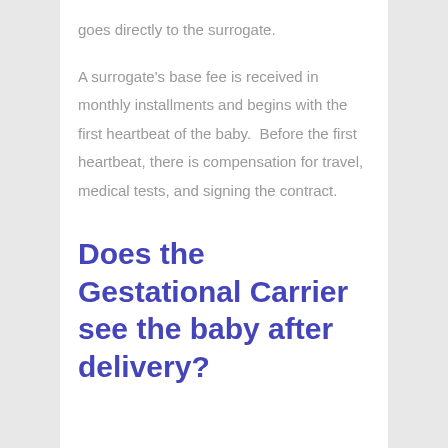goes directly to the surrogate.
A surrogate’s base fee is received in monthly installments and begins with the first heartbeat of the baby.  Before the first heartbeat, there is compensation for travel, medical tests, and signing the contract.
Does the Gestational Carrier see the baby after delivery?